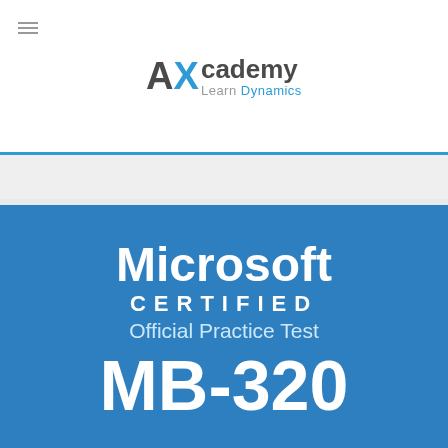[Figure (logo): AXcademy Learn Dynamics logo with hamburger menu icon in top-left]
[Figure (infographic): Microsoft Certified Official Practice Test MB-320 blue certification badge on blue background]